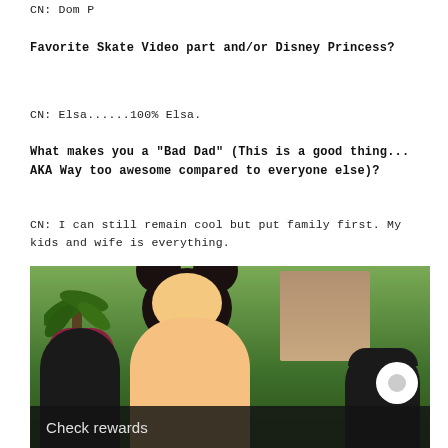CN: Dom P
Favorite Skate Video part and/or Disney Princess?
CN: Elsa......100% Elsa.
What makes you a "Bad Dad" (This is a good thing... AKA Way too awesome compared to everyone else)?
CN: I can still remain cool but put family first. My kids and wife is everything.
[Figure (photo): Two people and Mickey Mouse character posing together outdoors at what appears to be a Disney resort, with tropical trees and a building in the background. The person on the left wears a dark tank top and maroon cap. The person on the right wears a dark cap and sunglasses. There is a 'Check rewards' overlay bar at the bottom left and a chat bubble icon at the bottom right.]